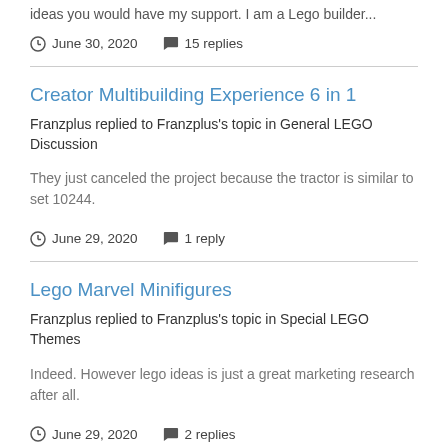ideas you would have my support. I am a Lego builder...
June 30, 2020   15 replies
Creator Multibuilding Experience 6 in 1
Franzplus replied to Franzplus's topic in General LEGO Discussion
They just canceled the project because the tractor is similar to set 10244.
June 29, 2020   1 reply
Lego Marvel Minifigures
Franzplus replied to Franzplus's topic in Special LEGO Themes
Indeed. However lego ideas is just a great marketing research after all.
June 29, 2020   2 replies